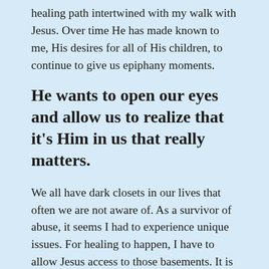healing path intertwined with my walk with Jesus. Over time He has made known to me, His desires for all of His children, to continue to give us epiphany moments.
He wants to open our eyes and allow us to realize that it's Him in us that really matters.
We all have dark closets in our lives that often we are not aware of. As a survivor of abuse, it seems I had to experience unique issues. For healing to happen, I have to allow Jesus access to those basements. It is difficult for anyone to admit they have a dark closet that has not been